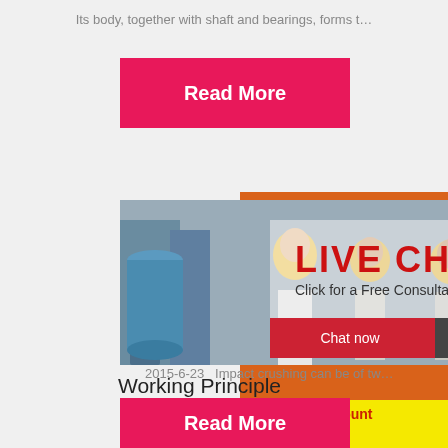Its body, together with shaft and bearings, forms t…
[Figure (illustration): Read More pink/red button]
[Figure (photo): Workers in yellow hard hats in industrial setting with Live Chat overlay, Chat now and Chat later buttons]
Working Principle
2015-6-23   Impact crushing can be of tw…
[Figure (infographic): Orange right sidebar showing machinery images, Enjoy 3% discount, Click to Chat, Enquiry, limingjlmofen@sina.com]
[Figure (illustration): Read More pink/red button at bottom]